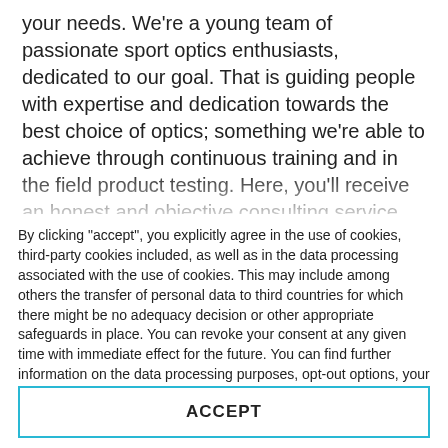your needs. We're a young team of passionate sport optics enthusiasts, dedicated to our goal. That is guiding people with expertise and dedication towards the best choice of optics; something we're able to achieve through continuous training and in the field product testing. Here, you'll receive an honest and objective consulting service, as the satisfaction of our customers is what matters to us most. Providing expert advice... After careful consideration of your
By clicking "accept", you explicitly agree in the use of cookies, third-party cookies included, as well as in the data processing associated with the use of cookies. This may include among others the transfer of personal data to third countries for which there might be no adequacy decision or other appropriate safeguards in place. You can revoke your consent at any given time with immediate effect for the future. You can find further information on the data processing purposes, opt-out options, your rights, and the risks of data transfers to third countries here.
ACCEPT